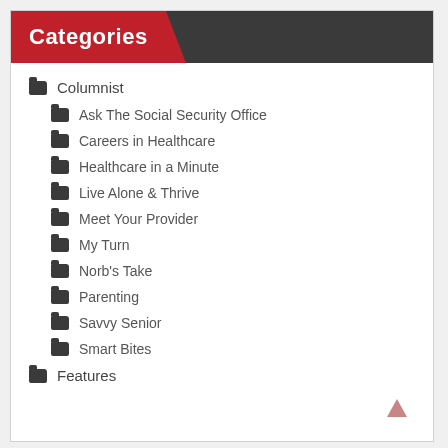Categories
Columnist
Ask The Social Security Office
Careers in Healthcare
Healthcare in a Minute
Live Alone & Thrive
Meet Your Provider
My Turn
Norb's Take
Parenting
Savvy Senior
Smart Bites
Features